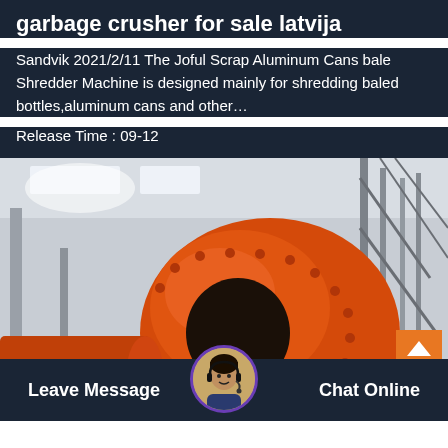garbage crusher for sale latvija
Sandvik 2021/2/11 The Joful Scrap Aluminum Cans bale Shredder Machine is designed mainly for shredding baled bottles,aluminum cans and other...
Release Time : 09-12
[Figure (photo): Large orange industrial ball mill machine inside a factory/warehouse with metal scaffolding and structural steel in the background]
Leave Message
Chat Online